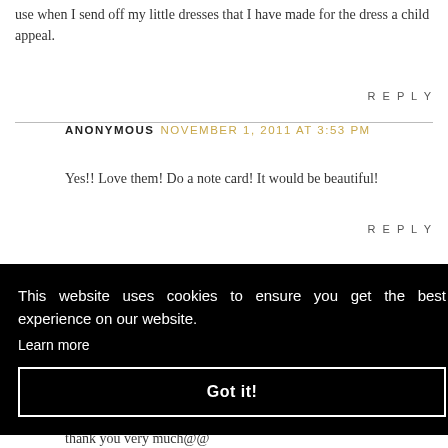use when I send off my little dresses that I have made for the dress a child appeal.
REPLY
ANONYMOUS NOVEMBER 1, 2011 AT 3:53 PM
Yes!! Love them! Do a note card! It would be beautiful!
REPLY
This website uses cookies to ensure you get the best experience on our website. Learn more
Got it!
REPLY
thank you very much@@